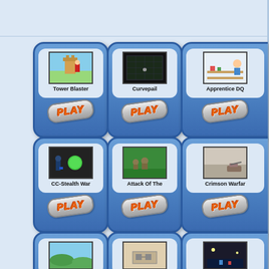[Figure (screenshot): Game portal webpage showing a 3x3 grid of game cards. Each card has a game thumbnail image, game title, and a PLAY button. Games shown: Tower Blaster, Curvepail, Apprentice DQ (top row); CC-Stealth War, Attack Of The, Crimson Warfare (middle row); partial cards visible in bottom row.]